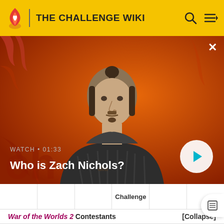THE CHALLENGE WIKI
[Figure (screenshot): Video thumbnail showing a man with a man-bun hairstyle against an orange background with flame graphics. Text overlay shows 'WATCH • 01:33' and 'Who is Zach Nichols?' with a play button.]
WATCH • 01:33
Who is Zach Nichols?
Challenge
War of the Worlds 2 Contestants [Collapse]